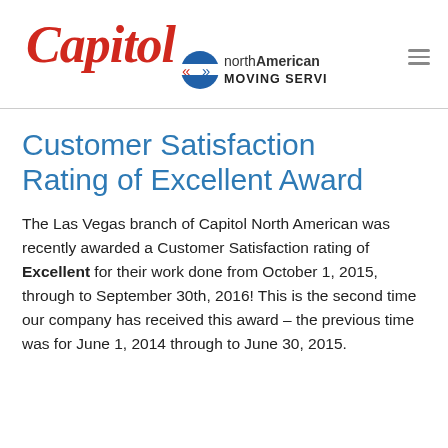[Figure (logo): Capitol North American Moving Services logo — red cursive 'Capitol' text above, with the North American Van Lines circular arrow logo and 'northAmerican MOVING SERVICES' text in black and blue]
Customer Satisfaction Rating of Excellent Award
The Las Vegas branch of Capitol North American was recently awarded a Customer Satisfaction rating of Excellent for their work done from October 1, 2015, through to September 30th, 2016! This is the second time our company has received this award – the previous time was for June 1, 2014 through to June 30, 2015.